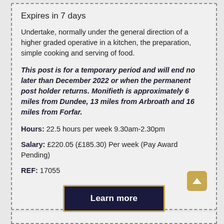Expires in 7 days
Undertake, normally under the general direction of a higher graded operative in a kitchen, the preparation, simple cooking and serving of food.
This post is for a temporary period and will end no later than December 2022 or when the permanent post holder returns. Monifieth is approximately 6 miles from Dundee, 13 miles from Arbroath and 16 miles from Forfar.
Hours: 22.5 hours per week 9.30am-2.30pm
Salary: £220.05 (£185.30) Per week (Pay Award Pending)
REF: 17055